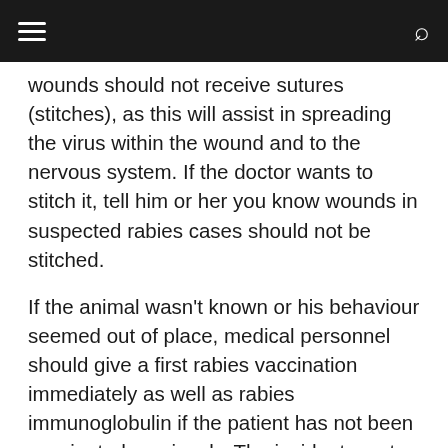≡  [navigation bar]  🔍
wounds should not receive sutures (stitches), as this will assist in spreading the virus within the wound and to the nervous system. If the doctor wants to stitch it, tell him or her you know wounds in suspected rabies cases should not be stitched.
If the animal wasn't known or his behaviour seemed out of place, medical personnel should give a first rabies vaccination immediately as well as rabies immunoglobulin if the patient has not been vaccinated previously. The incident must be reported to the state veterinarian. The animal may be immediately euthanised and brain tissue sent for analysis, or kept alive and observed for the development of rabies symptoms, usually